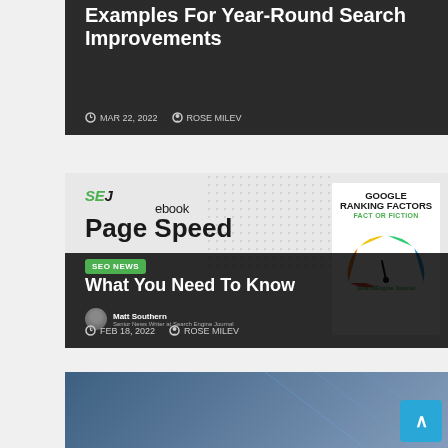Examples For Year-Round Search Improvements
MAR 22, 2022   ROSE MILEV
[Figure (screenshot): SEJ ebook article card with Page Speed text and Google Ranking Factors book cover showing a colorful gauge/donut chart]
SEO NEWS  What You Need To Know
Matt Southern  Senior News Writer at Search Engine Journal
FEB 18, 2022   ROSE MILEV
[Figure (photo): Partial article card at bottom showing hands and blue/tech background]